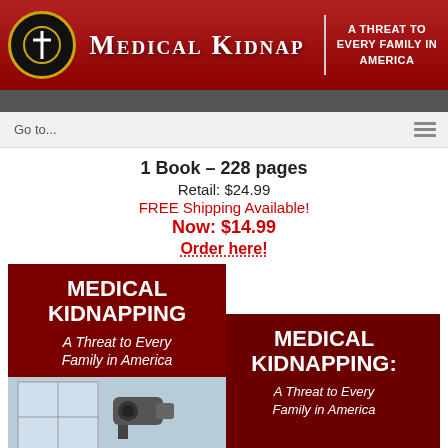Medical Kidnap — A Threat to Every Family in America
Go to...
1 Book – 228 pages
Retail: $24.99
FREE Shipping Available!
Now: $14.99
Order here!
[Figure (illustration): Two dark red book covers for 'Medical Kidnapping: A Threat to Every Family in America' overlapping, with a hospital security camera image on the first cover]
Medical Kidnapping: A Threat to Every Family in America